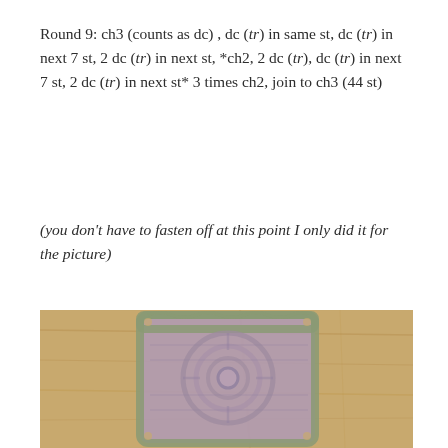Round 9: ch3 (counts as dc) , dc (tr) in same st, dc (tr) in next 7 st, 2 dc (tr) in next st, *ch2, 2 dc (tr), dc (tr) in next 7 st, 2 dc (tr) in next st* 3 times ch2, join to ch3 (44 st)
(you don't have to fasten off at this point I only did it for the picture)
[Figure (photo): A crocheted square motif in dusty mauve/purple yarn with a sage green border, photographed on a light wood surface. The square shows a classic granny square construction with a swirled center.]